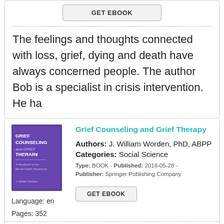[Figure (screenshot): GET EBOOK button in a card]
The feelings and thoughts connected with loss, grief, dying and death have always concerned people. The author Bob is a specialist in crisis intervention. He ha
[Figure (illustration): Book cover for Grief Counseling and Grief Therapy]
Grief Counseling and Grief Therapy
Authors: J. William Worden, PhD, ABPP
Language: en
Pages: 352
Categories: Social Science
Type: BOOK - Published: 2018-05-28 - Publisher: Springer Publishing Company
[Figure (screenshot): GET EBOOK button]